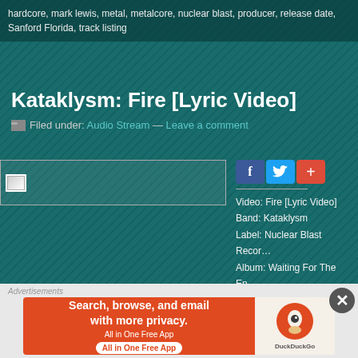hardcore, mark lewis, metal, metalcore, nuclear blast, producer, release date, Sanford Florida, track listing
Kataklysm: Fire [Lyric Video]
Filed under: Audio Stream — Leave a comment
[Figure (screenshot): Thumbnail image placeholder with broken image icon]
Video: Fire [Lyric Video]
Band: Kataklysm
Label: Nuclear Blast Records
Album: Waiting For The End
Band Page
Continue reading →
Advertisements
[Figure (screenshot): DuckDuckGo advertisement banner: Search, browse, and email with more privacy. All in One Free App.]